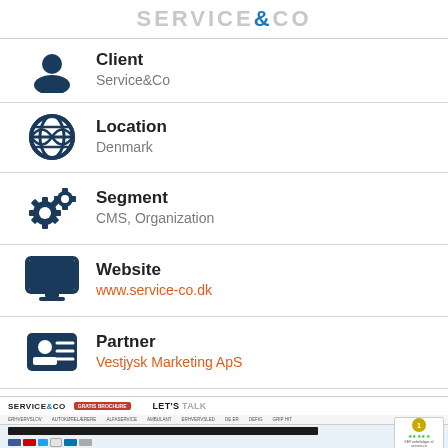SERVICE& CO
Client
Service&Co
Location
Denmark
Segment
CMS, Organization
Website
www.service-co.dk
Partner
Vestjysk Marketing ApS
[Figure (screenshot): Screenshot of Service&Co website showing the homepage with navigation bar, 'LET'S TALK' heading, and a rating badge.]